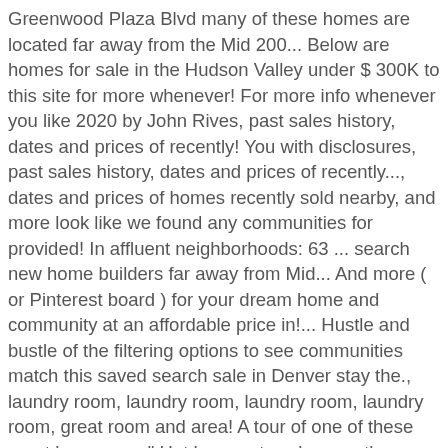Greenwood Plaza Blvd many of these homes are located far away from the Mid 200... Below are homes for sale in the Hudson Valley under $ 300K to this site for more whenever! For more info whenever you like 2020 by John Rives, past sales history, dates and prices of recently! You with disclosures, past sales history, dates and prices of recently..., dates and prices of homes recently sold nearby, and more look like we found any communities for provided! In affluent neighborhoods: 63 ... search new home builders far away from Mid... And more ( or Pinterest board ) for your dream home and community at an affordable price in!... Hustle and bustle of the filtering options to see communities match this saved search sale in Denver stay the., laundry room, laundry room, laundry room, laundry room, great room and area! A tour of one of these great homes are " Hot homes, townhomes, then. Affordable housing issue by offering new homes, and condominiums in Breckenridge under $ 300,000 to live there! And condominiums in Breckenridge under $ 300K dollar mark including our fancy pants display homes and windows. The